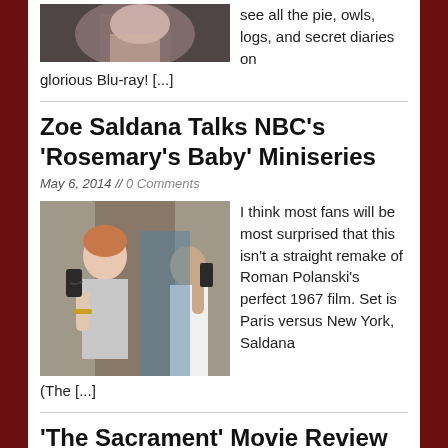[Figure (photo): Partial photo of a person at top of page]
see all the pie, owls, logs, and secret diaries on glorious Blu-ray! [...]
Zoe Saldana Talks NBC's 'Rosemary's Baby' Miniseries
May 6, 2014 // 0 Comments
[Figure (photo): Scene from Rosemary's Baby showing a woman with short hair on the phone, another woman in background also on phone]
I think most fans will be most surprised that this isn't a straight remake of Roman Polanski's perfect 1967 film. Set is Paris versus New York, Saldana (The [...]
'The Sacrament' Movie Review